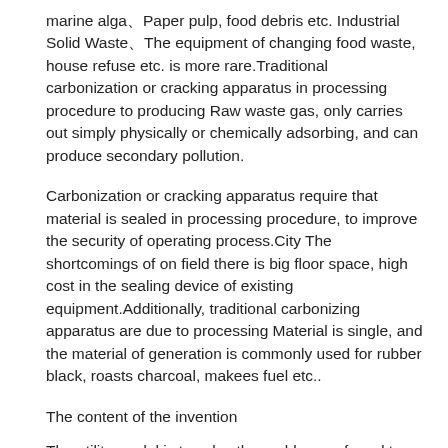marine alga、Paper pulp, food debris etc. Industrial Solid Waste、The equipment of changing food waste, house refuse etc. is more rare.Traditional carbonization or cracking apparatus in processing procedure to producing Raw waste gas, only carries out simply physically or chemically adsorbing, and can produce secondary pollution.
Carbonization or cracking apparatus require that material is sealed in processing procedure, to improve the security of operating process.City The shortcomings of on field there is big floor space, high cost in the sealing device of existing equipment.Additionally, traditional carbonizing apparatus are due to processing Material is single, and the material of generation is commonly used for rubber black, roasts charcoal, makees fuel etc..
The content of the invention
The utility model is to solve the problems referred to above and the deficiency that prior art is present, there is provided a kind of screw-pushing type solid gives up Gurry continuous carbonization equipment, highly versatile, and has the advantage of for use on illus...